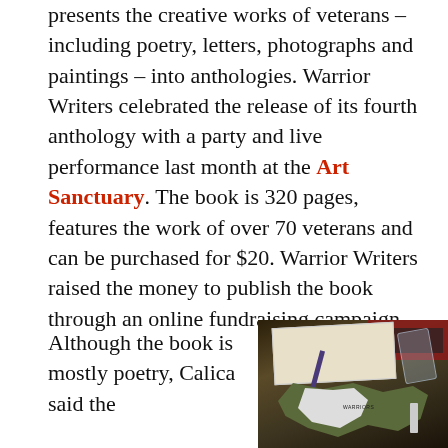presents the creative works of veterans – including poetry, letters, photographs and paintings – into anthologies. Warrior Writers celebrated the release of its fourth anthology with a party and live performance last month at the Art Sanctuary. The book is 320 pages, features the work of over 70 veterans and can be purchased for $20. Warrior Writers raised the money to publish the book through an online fundraising campaign.
Although the book is mostly poetry, Calica said the
[Figure (photo): Photo of a desk with papers, a pen, and a camouflage-patterned item with white design, likely related to Warrior Writers materials]